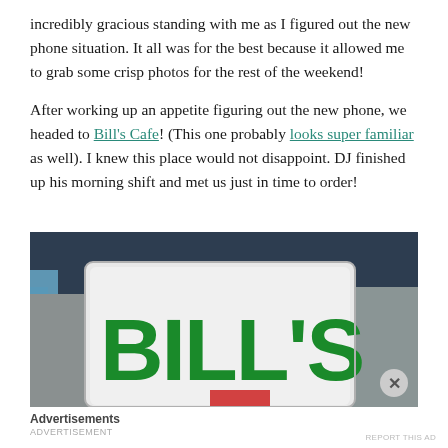incredibly gracious standing with me as I figured out the new phone situation. It all was for the best because it allowed me to grab some crisp photos for the rest of the weekend!

After working up an appetite figuring out the new phone, we headed to Bill's Cafe! (This one probably looks super familiar as well). I knew this place would not disappoint. DJ finished up his morning shift and met us just in time to order!
[Figure (photo): Close-up photo of Bill's Cafe menu/sign cover showing large green letters 'BILL'S' on white background with dark teal/navy background behind it and a red element partially visible at bottom]
Advertisements